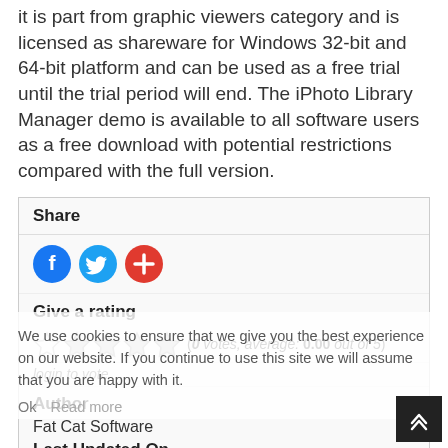it is part from graphic viewers category and is licensed as shareware for Windows 32-bit and 64-bit platform and can be used as a free trial until the trial period will end. The iPhoto Library Manager demo is available to all software users as a free download with potential restrictions compared with the full version.
Share
[Figure (infographic): Social share icons: Facebook (blue circle with f), Twitter (light blue circle with bird), and a red circle with plus sign]
Give a rating
[Figure (infographic): Five empty star rating icons]
(0 votes, average: 0.00 out of 5)
login to vote
Author
Fat Cat Software
Last Updated On
We use cookies to ensure that we give you the best experience on our website. If you continue to use this site we will assume that you are happy with it.
Ok   Read more